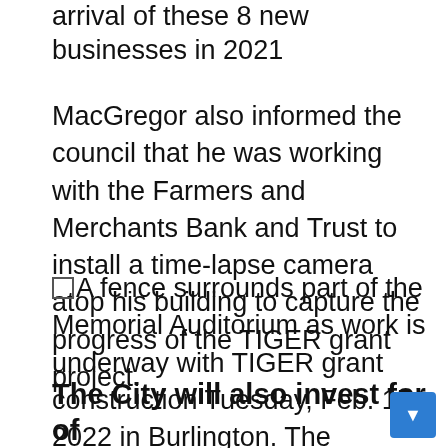arrival of these 8 new businesses in 2021
MacGregor also informed the council that he was working with the Farmers and Merchants Bank and Trust to install a time-lapse camera atop his building to capture the progress of the TIGER grant project.
A fence surrounds part of the Memorial Auditorium as work is underway with TIGER grant construction Tuesday, Feb. 15, 2022 in Burlington. The Burlington City Department will extend hours of operation and reduce fares on major event days at Memorial Auditorium to account for lost parking due to construction.
The City will also invest for of